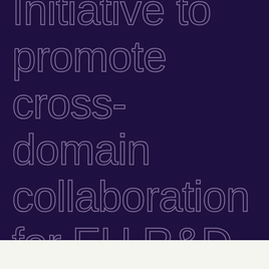Initiative to promote cross-domain collaboration for EU R&D programmes